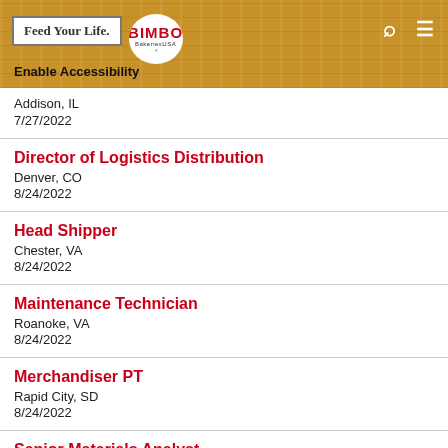Feed Your Life. | BIMBO Bakeries USA | Enable Accessibility
Addison, IL
7/27/2022
Director of Logistics Distribution
Denver, CO
8/24/2022
Head Shipper
Chester, VA
8/24/2022
Maintenance Technician
Roanoke, VA
8/24/2022
Merchandiser PT
Rapid City, SD
8/24/2022
Senior Materials Analyst